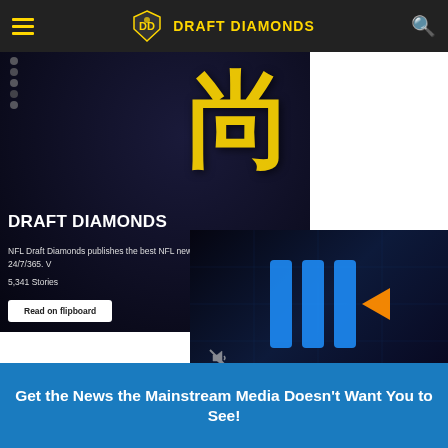DRAFT DIAMONDS
[Figure (screenshot): Draft Diamonds website screenshot showing a featured article image with a gold Chinese character on dark background, overlaid with text 'DRAFT DIAMONDS', subtitle about NFL Draft Diamonds publishing the best NFL news 24/7/365, a count of 5,341 Stories, and a 'Read on flipboard' button. Also shows a video player thumbnail on the right with Plex-style play button.]
DRAFT DIAMONDS
NFL Draft Diamonds publishes the best NFL news 24/7/365. V
5,341 Stories
Read on flipboard
Get the News the Mainstream Media Doesn't Want You to See!